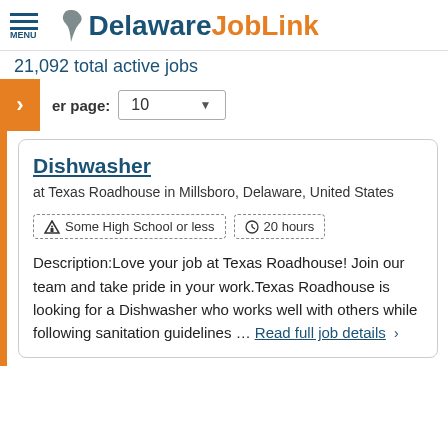Delaware JobLink
21,092 total active jobs
per page: 10
Dishwasher
at Texas Roadhouse in Millsboro, Delaware, United States
Some High School or less
20 hours
Description:Love your job at Texas Roadhouse! Join our team and take pride in your work.Texas Roadhouse is looking for a Dishwasher who works well with others while following sanitation guidelines … Read full job details >